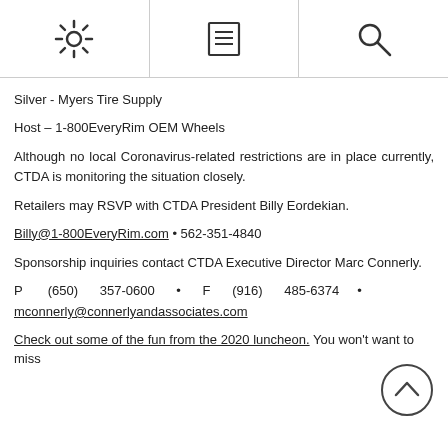[gear icon] [menu icon] [search icon]
Silver - Myers Tire Supply
Host – 1-800EveryRim OEM Wheels
Although no local Coronavirus-related restrictions are in place currently, CTDA is monitoring the situation closely.
Retailers may RSVP with CTDA President Billy Eordekian.
Billy@1-800EveryRim.com • 562-351-4840
Sponsorship inquiries contact CTDA Executive Director Marc Connerly.
P (650) 357-0600 • F (916) 485-6374 • mconnerly@connerlyandassociates.com
Check out some of the fun from the 2020 luncheon. You won't want to miss